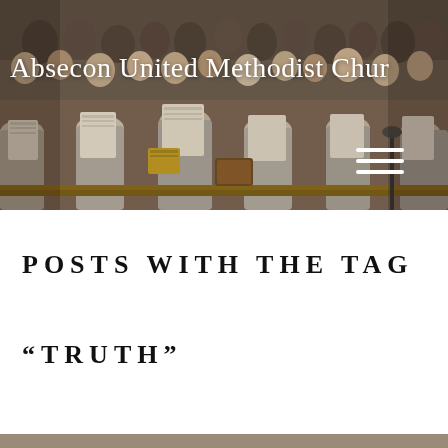[Figure (photo): Church congregation photo — choir members in robes seated in pews holding music sheets, congregation standing in background, church interior setting.]
Absecon United Methodist Chur
POSTS WITH THE TAG
“TRUTH”